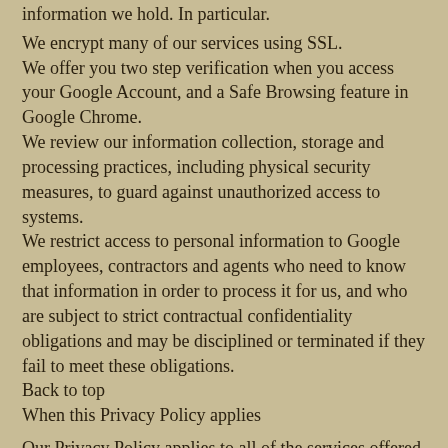information we hold. In particular.
We encrypt many of our services using SSL.
We offer you two step verification when you access your Google Account, and a Safe Browsing feature in Google Chrome.
We review our information collection, storage and processing practices, including physical security measures, to guard against unauthorized access to systems.
We restrict access to personal information to Google employees, contractors and agents who need to know that information in order to process it for us, and who are subject to strict contractual confidentiality obligations and may be disciplined or terminated if they fail to meet these obligations.
Back to top
When this Privacy Policy applies
Our Privacy Policy applies to all of the services offered by Google Inc. and its affiliates, including YouTube, and services offered on other sites (such as our advertising services), but excludes services that have separate privacy policies that do not incorporate this Privacy Policy.